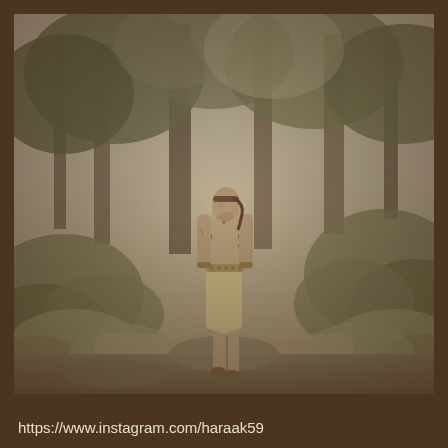[Figure (photo): A person dressed in a tribal/ancient warrior costume with arm bands, a beaded necklace, and a linen loincloth/skirt stands on a rock path in a forest. The photo has a vintage sepia-toned, desaturated look with tall trees, ferns, and lush greenery in the background. The person is shirtless, looking slightly to the side.]
https://www.instagram.com/haraak59